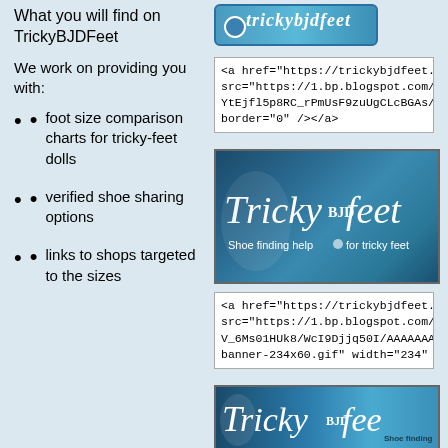[Figure (logo): TrickyBJDFeet logo banner - teal colored with stylized text]
What you will find on TrickyBJDFeet
We work on providing you with:
[Figure (screenshot): HTML code snippet showing anchor tag with href to trickybjdfeet.blo... and img src to 1.bp.blogspot.com]
[Figure (logo): TrickyBJDFeet main banner - dark teal background with white stylized text 'TrickyBJDfeet' and tagline 'Shoe finding help for tricky feet']
foot size comparison charts for tricky-feet dolls
[Figure (screenshot): HTML code snippet showing anchor tag with href to trickybjdfeet.blo... and img src with V_6Ms01HUk8 path, banner-234x60.gif width=234]
verified shoe sharing options
[Figure (logo): TrickyBJDfeet wide banner - blue gradient with white text 'TrickyBJDfee' and 'Shoe finding' text]
links to shops targeted to the sizes
[Figure (screenshot): HTML code snippet showing anchor tag with href to trickybjdfeet.blo... and img src to 1.bp.blogspot.com]